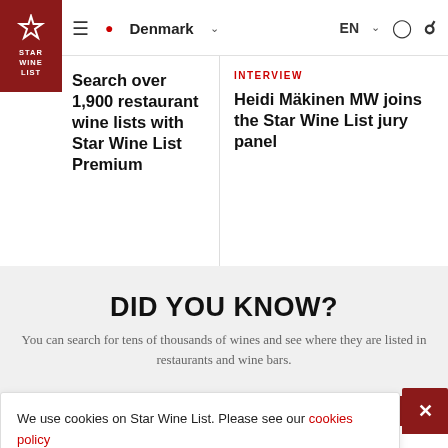Star Wine List — Denmark — EN
Search over 1,900 restaurant wine lists with Star Wine List Premium
INTERVIEW
Heidi Mäkinen MW joins the Star Wine List jury panel
DID YOU KNOW?
You can search for tens of thousands of wines and see where they are listed in restaurants and wine bars.
We use cookies on Star Wine List. Please see our cookies policy